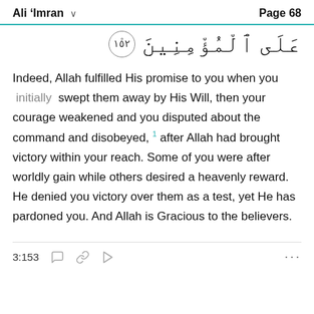Ali 'Imran   Page 68
عَلَى ٱلۡمُؤۡمِنِينَ ۞ ١٥٢
Indeed, Allah fulfilled His promise to you when you ⌊initially⌋ swept them away by His Will, then your courage weakened and you disputed about the command and disobeyed,¹ after Allah had brought victory within your reach. Some of you were after worldly gain while others desired a heavenly reward. He denied you victory over them as a test, yet He has pardoned you. And Allah is Gracious to the believers.
3:153